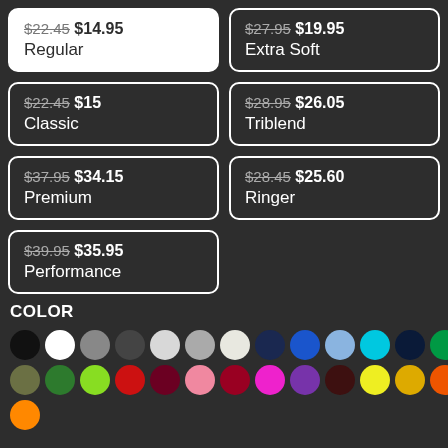$22.45 $14.95 Regular
$27.95 $19.95 Extra Soft
$22.45 $15 Classic
$28.95 $26.05 Triblend
$37.95 $34.15 Premium
$28.45 $25.60 Ringer
$39.95 $35.95 Performance
COLOR
[Figure (other): Color swatches grid showing 27 color options including black, white, gray, dark gray, light gray, medium gray, off-white, navy, blue, light blue, cyan, dark navy, green, olive, forest green, lime green, red, maroon, pink, dark red, magenta, purple, dark brown, yellow, gold, orange, orange.]